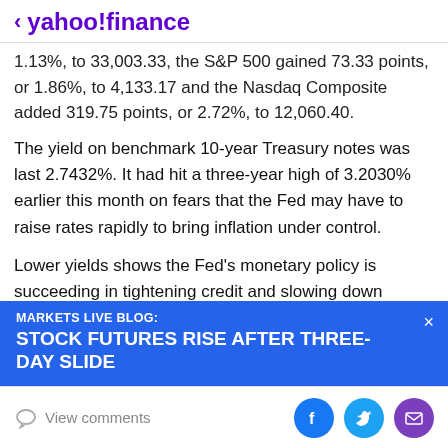< yahoo!finance
1.13%, to 33,003.33, the S&P 500 gained 73.33 points, or 1.86%, to 4,133.17 and the Nasdaq Composite added 319.75 points, or 2.72%, to 12,060.40.
The yield on benchmark 10-year Treasury notes was last 2.7432%. It had hit a three-year high of 3.2030% earlier this month on fears that the Fed may have to raise rates rapidly to bring inflation under control.
Lower yields shows the Fed's monetary policy is succeeding in tightening credit and slowing down prices, said BofA's Quinlan.
[Figure (infographic): Blue banner overlay: MARKETS LIVE BLOG: STOCK FUTURES RISE AFTER THREE-DAY SLIDE with X close button]
View comments | Facebook share | Twitter share | Email share